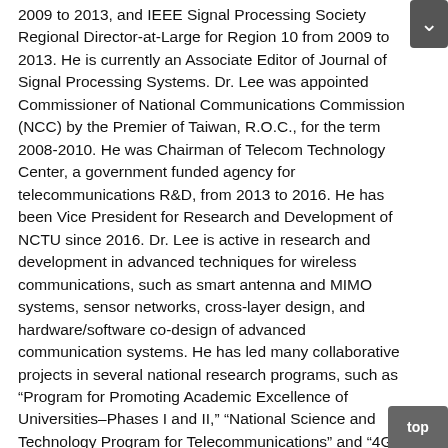2009 to 2013, and IEEE Signal Processing Society Regional Director-at-Large for Region 10 from 2009 to 2013. He is currently an Associate Editor of Journal of Signal Processing Systems. Dr. Lee was appointed Commissioner of National Communications Commission (NCC) by the Premier of Taiwan, R.O.C., for the term 2008-2010. He was Chairman of Telecom Technology Center, a government funded agency for telecommunications R&D, from 2013 to 2016. He has been Vice President for Research and Development of NCTU since 2016. Dr. Lee is active in research and development in advanced techniques for wireless communications, such as smart antenna and MIMO systems, sensor networks, cross-layer design, and hardware/software co-design of advanced communication systems. He has led many collaborative projects in several national research programs, such as “Program for Promoting Academic Excellence of Universities–Phases I and II,” “National Science and Technology Program for Telecommunications” and “4G Mobile Communications Research Program.” He has published more than 160 peer-reviewed papers and patents. Dr. Lee is an IEEE Fellow, and has won several awards for his research, engineering and education contributions; these include two times National Science Council (NSC) Superior Research Award, 1999 Young Electrical Engineer Award of the Chinese Institute of Electrical Engineering (CIEE), 2011 Distinguished Electrical Engineering Professor Award of CIEE, two times NCTU Distinguished Scholar Award, and NCTU Teaching